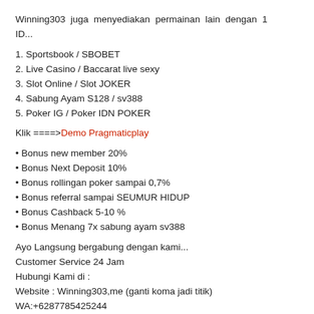Winning303 juga menyediakan permainan lain dengan 1 ID...
1. Sportsbook / SBOBET
2. Live Casino / Baccarat live sexy
3. Slot Online / Slot JOKER
4. Sabung Ayam S128 / sv388
5. Poker IG / Poker IDN POKER
Klik ====>Demo Pragmaticplay
• Bonus new member 20%
• Bonus Next Deposit 10%
• Bonus rollingan poker sampai 0,7%
• Bonus referral sampai SEUMUR HIDUP
• Bonus Cashback 5-10 %
• Bonus Menang 7x sabung ayam sv388
Ayo Langsung bergabung dengan kami...
Customer Service 24 Jam
Hubungi Kami di :
Website : Winning303,me (ganti koma jadi titik)
WA:+6287785425244